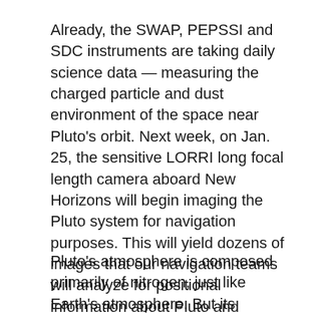Already, the SWAP, PEPSSI and SDC instruments are taking daily science data — measuring the charged particle and dust environment of the space near Pluto's orbit. Next week, on Jan. 25, the sensitive LORRI long focal length camera aboard New Horizons will begin imaging the Pluto system for navigation purposes. This will yield dozens of images that our navigation teams will analyze for positional information about Pluto and Charon against star fields, allowing us to home in more accurately than by radio navigation from Earth alone.
Pluto's atmosphere is composed primarily of nitrogen, just like Earth's atmosphere. But its